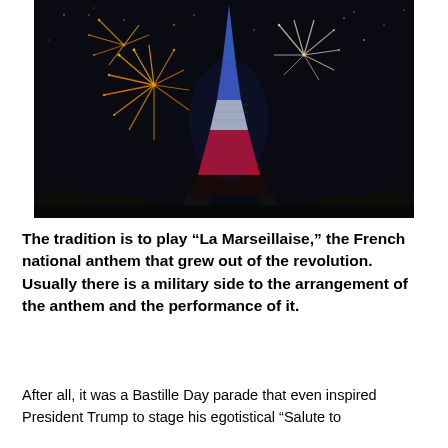[Figure (photo): Nighttime photo of the Eiffel Tower illuminated in blue, white, and red (French tricolor) with fireworks exploding around it against a dark sky, with silhouetted trees at the base.]
The tradition is to play “La Marseillaise,” the French national anthem that grew out of the revolution. Usually there is a military side to the arrangement of the anthem and the performance of it.
After all, it was a Bastille Day parade that even inspired President Trump to stage his egotistical “Salute to